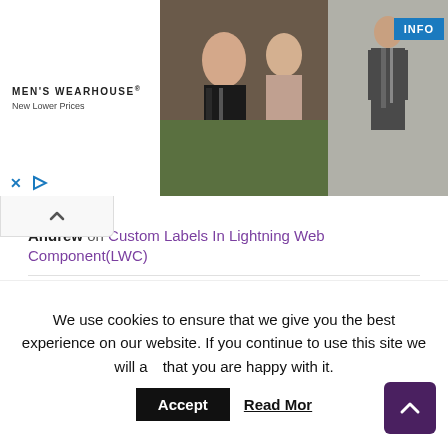[Figure (photo): Men's Wearhouse advertisement banner with couple in formal wear and single man in suit, with INFO button]
Andrew on Custom Labels In Lightning Web Component(LWC)
Vijaya on Lightning Web Component(LWC) Toast Messages
solviostechnology on Salesforce developer interview questions
Rob on Batch Apex Example In Salesforce
Abhishek Kumar on Triggers in Salesforce
We use cookies to ensure that we give you the best experience on our website. If you continue to use this site we will assume that you are happy with it.